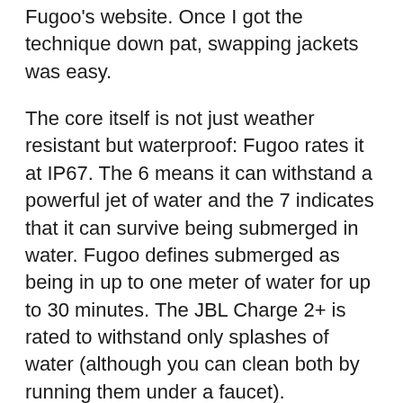Fugoo's website. Once I got the technique down pat, swapping jackets was easy.
The core itself is not just weather resistant but waterproof: Fugoo rates it at IP67. The 6 means it can withstand a powerful jet of water and the 7 indicates that it can survive being submerged in water. Fugoo defines submerged as being in up to one meter of water for up to 30 minutes. The JBL Charge 2+ is rated to withstand only splashes of water (although you can clean both by running them under a faucet).
The $30 Style jacket is the simplest and least rugged of the three, being fabricated of fiber-reinforced resin with a water-resistant cloth grill. The two-piece Sport jacket ($40) is made from much thicker resin and is wrapped with rubber trim to